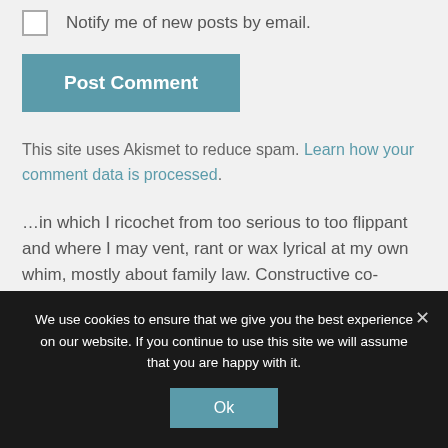Notify me of new posts by email.
Post Comment
This site uses Akismet to reduce spam. Learn how your comment data is processed.
…in which I ricochet from too serious to too flippant and where I may vent, rant or wax lyrical at my own whim, mostly about family law. Constructive co-ranting
We use cookies to ensure that we give you the best experience on our website. If you continue to use this site we will assume that you are happy with it.
Ok